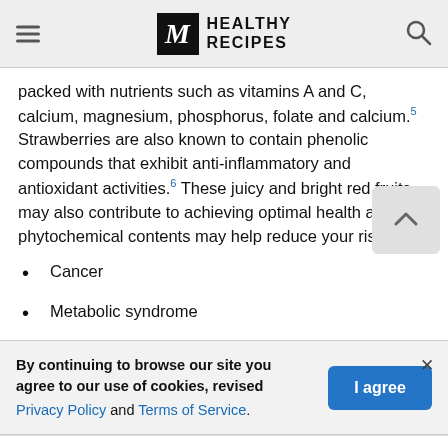M HEALTHY RECIPES
packed with nutrients such as vitamins A and C, calcium, magnesium, phosphorus, folate and calcium.5 Strawberries are also known to contain phenolic compounds that exhibit anti-inflammatory and antioxidant activities.6 These juicy and bright red fruits may also contribute to achieving optimal health as their phytochemical contents may help reduce your risk of:
Cancer
Metabolic syndrome
By continuing to browse our site you agree to our use of cookies, revised Privacy Policy and Terms of Service.
1.6K Shares